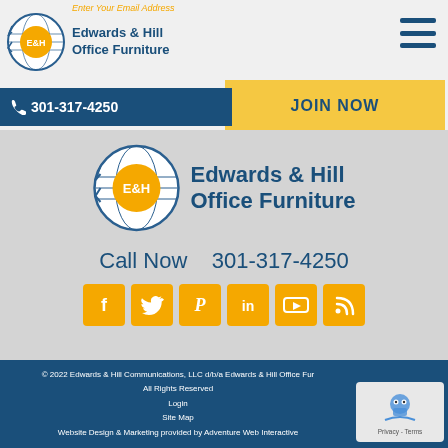[Figure (logo): Edwards & Hill Office Furniture logo - circular globe with E&H letters in gold, company name in dark blue]
Enter Your Email Address
JOIN NOW
301-317-4250
[Figure (logo): Large Edwards & Hill Office Furniture logo centered on page]
Edwards & Hill Office Furniture
Call Now   301-317-4250
[Figure (infographic): Row of 6 social media icon buttons in gold/orange: Facebook, Twitter, Pinterest, LinkedIn, YouTube, RSS]
Home | About | Services | Industries | Multimedia | Portfolio | Blog | Service Areas | Press | Contact
© 2022 Edwards & Hill Communications, LLC d/b/a Edwards & Hill Office Furniture. All Rights Reserved. Login. Site Map. Website Design & Marketing provided by Adventure Web Interactive
[Figure (other): reCAPTCHA privacy badge - Privacy - Terms]